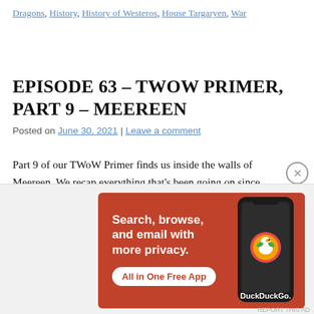Dragons, History, History of Westeros, House Targaryen, War
EPISODE 63 – TWOW PRIMER, PART 9 – MEEREEN
Posted on June 30, 2021 | Leave a comment
Part 9 of our TWoW Primer finds us inside the walls of Meereen. We recap everything that's been going on since Dany flew away on Drogon's back, including the conclusion of Quentyn Martell's grand adventure, the conflicts and conundrums facing Barristan the
[Figure (other): DuckDuckGo advertisement banner: orange background with white text 'Search, browse, and email with more privacy. All in One Free App' and a phone illustration with DuckDuckGo logo]